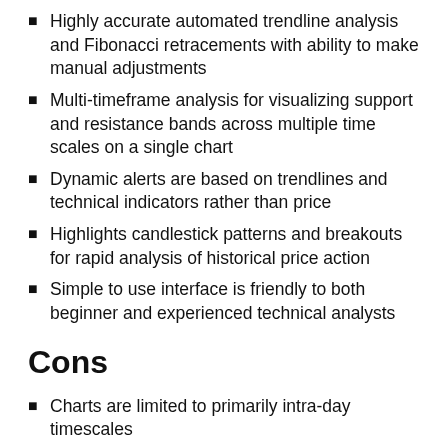Highly accurate automated trendline analysis and Fibonacci retracements with ability to make manual adjustments
Multi-timeframe analysis for visualizing support and resistance bands across multiple time scales on a single chart
Dynamic alerts are based on trendlines and technical indicators rather than price
Highlights candlestick patterns and breakouts for rapid analysis of historical price action
Simple to use interface is friendly to both beginner and experienced technical analysts
Cons
Charts are limited to primarily intra-day timescales
Viewing multiple charts with trendlines and indicators